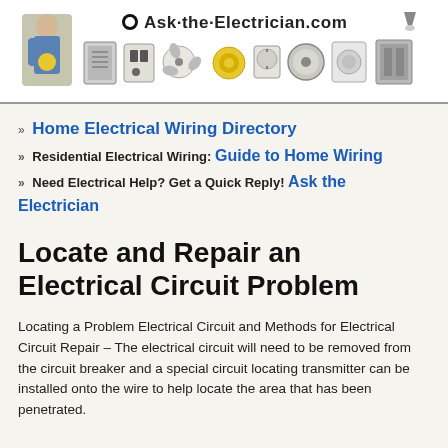[Figure (logo): Ask-the-Electrician.com website header banner with logo text, electrician person, and electrical component icons (outlet, fan, switch, wire coil, panel, etc.)]
» Home Electrical Wiring Directory
» Residential Electrical Wiring: Guide to Home Wiring
» Need Electrical Help? Get a Quick Reply! Ask the Electrician
Locate and Repair an Electrical Circuit Problem
Locating a Problem Electrical Circuit and Methods for Electrical Circuit Repair – The electrical circuit will need to be removed from the circuit breaker and a special circuit locating transmitter can be installed onto the wire to help locate the area that has been penetrated.